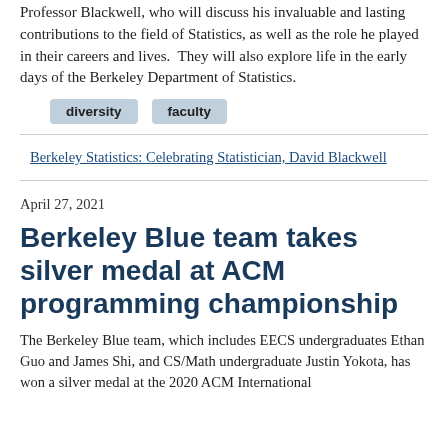Professor Blackwell, who will discuss his invaluable and lasting contributions to the field of Statistics, as well as the role he played in their careers and lives.  They will also explore life in the early days of the Berkeley Department of Statistics.
diversity
faculty
Berkeley Statistics: Celebrating Statistician, David Blackwell
April 27, 2021
Berkeley Blue team takes silver medal at ACM programming championship
The Berkeley Blue team, which includes EECS undergraduates Ethan Guo and James Shi, and CS/Math undergraduate Justin Yokota, has won a silver medal at the 2020 ACM International